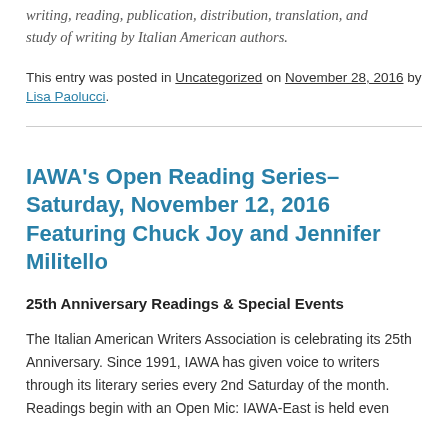writing, reading, publication, distribution, translation, and study of writing by Italian American authors.
This entry was posted in Uncategorized on November 28, 2016 by Lisa Paolucci.
IAWA’s Open Reading Series–Saturday, November 12, 2016 Featuring Chuck Joy and Jennifer Militello
25th Anniversary Readings & Special Events
The Italian American Writers Association is celebrating its 25th Anniversary. Since 1991, IAWA has given voice to writers through its literary series every 2nd Saturday of the month. Readings begin with an Open Mic: IAWA-East is held even